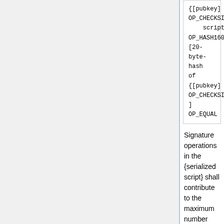[Figure (screenshot): Code block showing: {[pubkey] OP_CHECKSIG} scriptPubKey: OP_HASH160 [20-byte-hash of {[pubkey] OP_CHECKSIG}] OP_EQUAL]
Signature operations in the {serialized script} shall contribute to the maximum number allowed per block (20,000) as follows:
OP_CHECKSIG and OP_CHECKSIGVERIFY count as 1 signature operation, whether or not they are evaluated.
OP_CHECKMULTISIG and OP_CHECKMULTISIGVERIFY immediately preceded by OP_1 through OP_16 are counted as 1 to 16 signature operation, whether or not they are